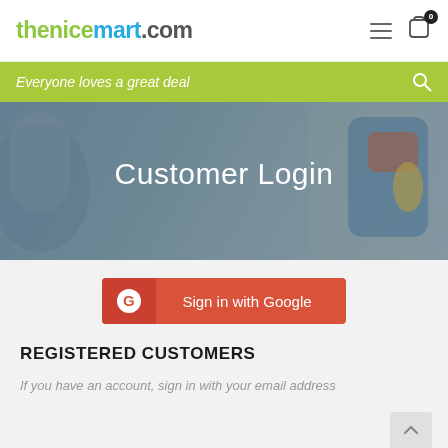thenicemart.com
Everyone loves a great deal
[Figure (photo): Background photo of a person holding a blue basket filled with cleaning products and groceries, with a semi-transparent overlay]
Customer Login
[Figure (other): Sign in with Google button with red background and Google G logo]
REGISTERED CUSTOMERS
If you have an account, sign in with your email address